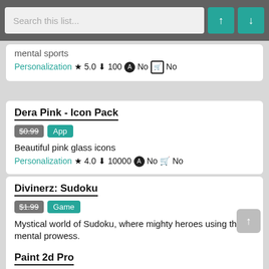Search this list...
mental sports
Personalization ★ 5.0 ↓ 100 ⓐ No 🛒 No
Dera Pink - Icon Pack
$0.99 App
Beautiful pink glass icons
Personalization ★ 4.0 ↓ 10000 ⓐ No 🛒 No
Divinerz: Sudoku
$1.99 Game
Mystical world of Sudoku, where mighty heroes using their mental prowess.
Puzzle ★ 3.5 ↓ 10000 ⓐ No 🛒 No
Paint 2d Pro